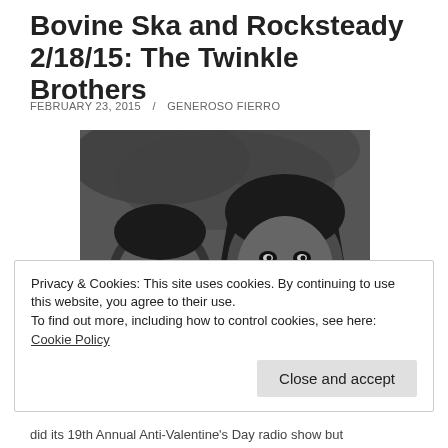Bovine Ska and Rocksteady 2/18/15: The Twinkle Brothers
FEBRUARY 23, 2015  /  GENEROSO FIERRO
[Figure (photo): Black and white photograph of two men, one older with short dreadlocks and a beard smiling broadly, and one younger with long dreadlocks and a beard, both smiling at the camera, outdoors with trees in background.]
Privacy & Cookies: This site uses cookies. By continuing to use this website, you agree to their use. To find out more, including how to control cookies, see here: Cookie Policy  Close and accept
did its 19th Annual Anti-Valentine's Day radio show but